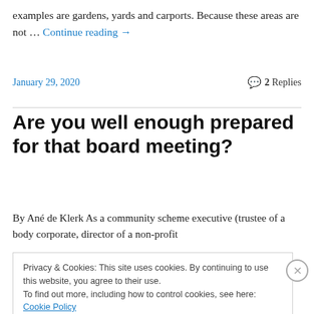examples are gardens, yards and carports. Because these areas are not … Continue reading →
January 29, 2020
2 Replies
Are you well enough prepared for that board meeting?
By Ané de Klerk As a community scheme executive (trustee of a body corporate, director of a non-profit
Privacy & Cookies: This site uses cookies. By continuing to use this website, you agree to their use.
To find out more, including how to control cookies, see here: Cookie Policy
Close and accept